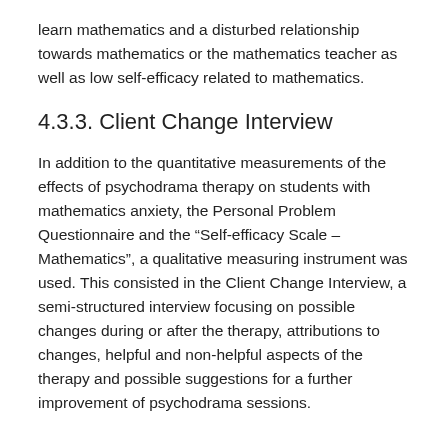learn mathematics and a disturbed relationship towards mathematics or the mathematics teacher as well as low self-efficacy related to mathematics.
4.3.3. Client Change Interview
In addition to the quantitative measurements of the effects of psychodrama therapy on students with mathematics anxiety, the Personal Problem Questionnaire and the “Self-efficacy Scale – Mathematics”, a qualitative measuring instrument was used. This consisted in the Client Change Interview, a semi-structured interview focusing on possible changes during or after the therapy, attributions to changes, helpful and non-helpful aspects of the therapy and possible suggestions for a further improvement of psychodrama sessions.
5. Results